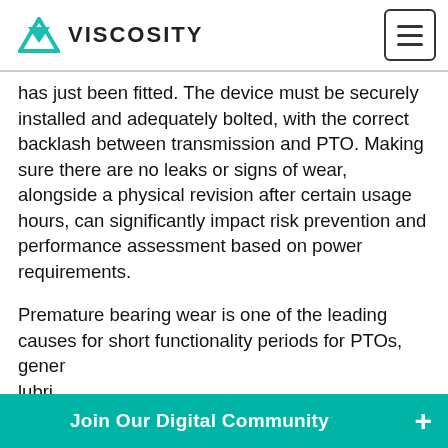VISCOSITY
has just been fitted. The device must be securely installed and adequately bolted, with the correct backlash between transmission and PTO. Making sure there are no leaks or signs of wear, alongside a physical revision after certain usage hours, can significantly impact risk prevention and performance assessment based on power requirements.
Premature bearing wear is one of the leading causes for short functionality periods for PTOs, gener... lubri...